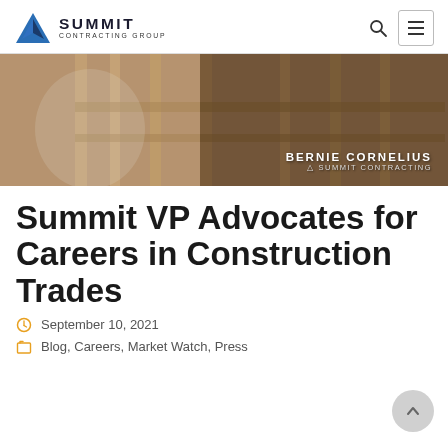Summit Contracting Group
[Figure (photo): A man in a white button-up shirt with a beard standing in front of wood framing construction. Text overlay reads 'BERNIE CORNELIUS SUMMIT CONTRACTING' with a logo.]
Summit VP Advocates for Careers in Construction Trades
September 10, 2021
Blog, Careers, Market Watch, Press